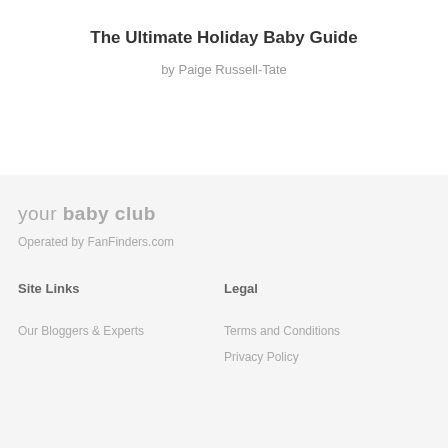The Ultimate Holiday Baby Guide
by Paige Russell-Tate
your baby club
Operated by FanFinders.com
Site Links
Legal
Our Bloggers & Experts
Terms and Conditions
Privacy Policy